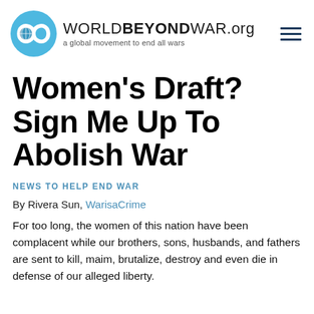WORLDBEYONDWAR.org — a global movement to end all wars
Women's Draft? Sign Me Up To Abolish War
News To Help End War
By Rivera Sun, WarisaCrime
For too long, the women of this nation have been complacent while our brothers, sons, husbands, and fathers are sent to kill, maim, brutalize, destroy and even die in defense of our alleged liberty.